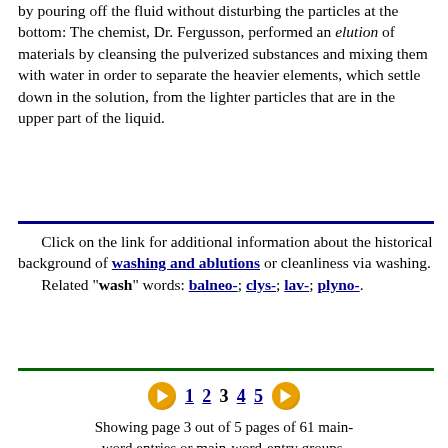by pouring off the fluid without disturbing the particles at the bottom: The chemist, Dr. Fergusson, performed an elution of materials by cleansing the pulverized substances and mixing them with water in order to separate the heavier elements, which settle down in the solution, from the lighter particles that are in the upper part of the liquid.
Click on the link for additional information about the historical background of washing and ablutions or cleanliness via washing. Related "wash" words: balneo-; clys-; lav-; plyno-.
1 2 3 4 5
Showing page 3 out of 5 pages of 61 main-word entries or main-word-entry groups.